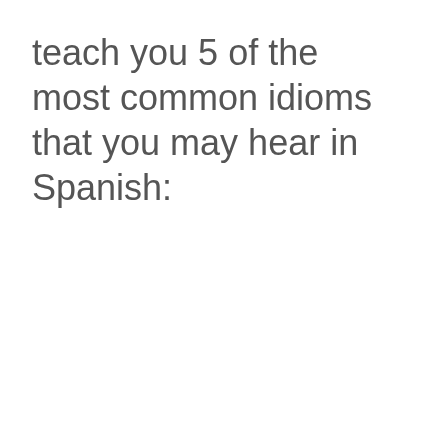teach you 5 of the most common idioms that you may hear in Spanish: